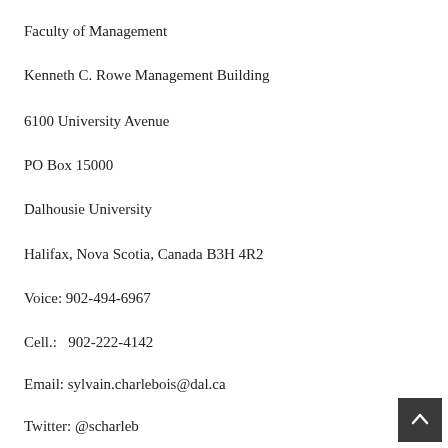Faculty of Management
Kenneth C. Rowe Management Building
6100 University Avenue
PO Box 15000
Dalhousie University
Halifax, Nova Scotia, Canada B3H 4R2
Voice: 902-494-6967
Cell.:   902-222-4142
Email: sylvain.charlebois@dal.ca
Twitter: @scharleb